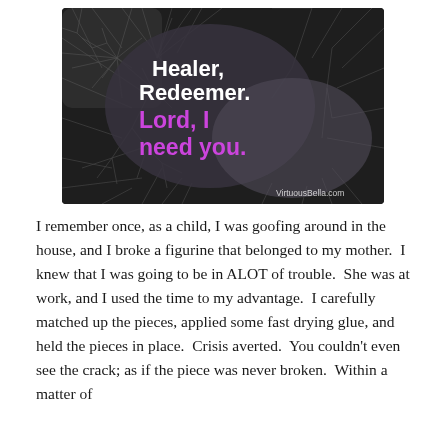[Figure (photo): Black and white photo of broken/shattered glass with a dark oval blob overlay in the center. Text on the overlay reads 'Healer, Redeemer.' in white bold font and 'Lord, I need you.' in pink/purple bold font. Watermark 'VirtuousBella.com' in bottom right corner.]
I remember once, as a child, I was goofing around in the house, and I broke a figurine that belonged to my mother.  I knew that I was going to be in ALOT of trouble.  She was at work, and I used the time to my advantage.  I carefully matched up the pieces, applied some fast drying glue, and held the pieces in place.  Crisis averted.  You couldn't even see the crack; as if the piece was never broken.  Within a matter of